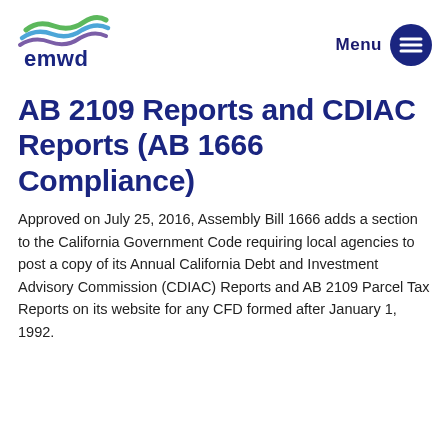[Figure (logo): EMWD (Eastern Municipal Water District) logo with stylized wave icon in green, blue, and purple, and 'emwd' text in blue below]
[Figure (other): Dark blue circle with hamburger menu icon (three horizontal white lines) and bold 'Menu' text to the left]
AB 2109 Reports and CDIAC Reports (AB 1666 Compliance)
Approved on July 25, 2016, Assembly Bill 1666 adds a section to the California Government Code requiring local agencies to post a copy of its Annual California Debt and Investment Advisory Commission (CDIAC) Reports and AB 2109 Parcel Tax Reports on its website for any CFD formed after January 1, 1992.